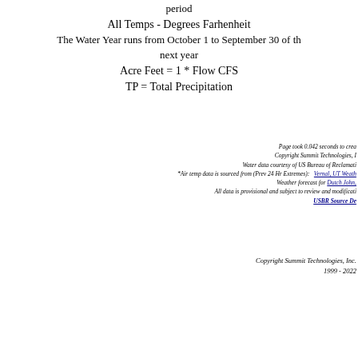period
All Temps - Degrees Farhenheit
The Water Year runs from October 1 to September 30 of the next year
Acre Feet = 1 * Flow CFS
TP = Total Precipitation
Page took 0.042 seconds to create
Copyright Summit Technologies, Inc.
Water data courtesy of US Bureau of Reclamation
*Air temp data is sourced from (Prev 24 Hr Extremes):  Vernal, UT Weather
Weather forecast for Dutch John, UT
All data is provisional and subject to review and modification
USBR Source Data
Copyright Summit Technologies, Inc.
1999 - 2022